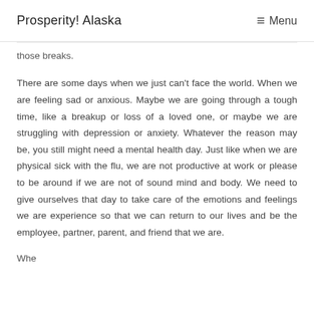Prosperity! Alaska  Menu
those breaks.
There are some days when we just can't face the world. When we are feeling sad or anxious. Maybe we are going through a tough time, like a breakup or loss of a loved one, or maybe we are struggling with depression or anxiety. Whatever the reason may be, you still might need a mental health day. Just like when we are physical sick with the flu, we are not productive at work or please to be around if we are not of sound mind and body. We need to give ourselves that day to take care of the emotions and feelings we are experience so that we can return to our lives and be the employee, partner, parent, and friend that we are.
When...